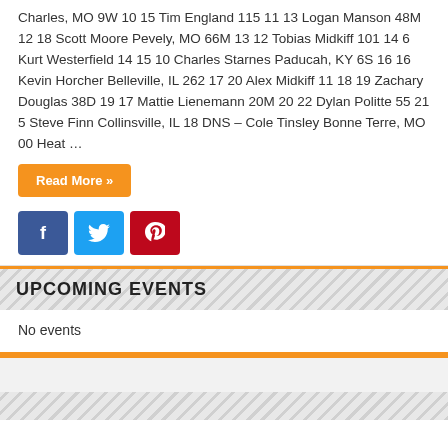Charles, MO 9W 10 15 Tim England 115 11 13 Logan Manson 48M 12 18 Scott Moore Pevely, MO 66M 13 12 Tobias Midkiff 101 14 6 Kurt Westerfield 14 15 10 Charles Starnes Paducah, KY 6S 16 16 Kevin Horcher Belleville, IL 262 17 20 Alex Midkiff 11 18 19 Zachary Douglas 38D 19 17 Mattie Lienemann 20M 20 22 Dylan Politte 55 21 5 Steve Finn Collinsville, IL 18 DNS – Cole Tinsley Bonne Terre, MO 00 Heat …
Read More »
[Figure (other): Social share buttons: Facebook (blue), Twitter (light blue), Pinterest (red)]
UPCOMING EVENTS
No events
[Figure (logo): MAVTV Motorsports Network logo in light grey]